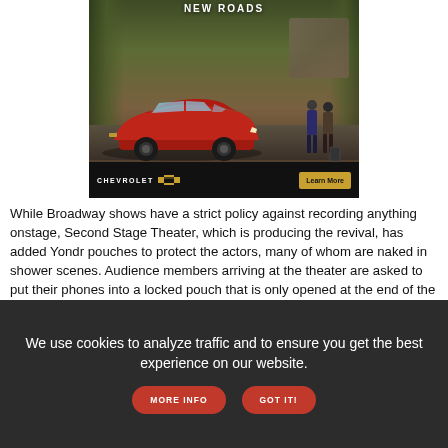[Figure (photo): Chevrolet advertisement showing a red SUV (Equinox) parked in front of a house with two people nearby. Text reads 'NEW ROADS' at top. Bottom bar shows Chevrolet logo and 'Learn More' button.]
While Broadway shows have a strict policy against recording anything onstage, Second Stage Theater, which is producing the revival, has added Yondr pouches to protect the actors, many of whom are naked in shower scenes. Audience members arriving at the theater are asked to put their phones into a locked pouch that is only opened at the end of the show. Producers said they would beef up security in the wake of the violation.
We use cookies to analyze traffic and to ensure you get the best experience on our website. MORE INFO GOT IT!